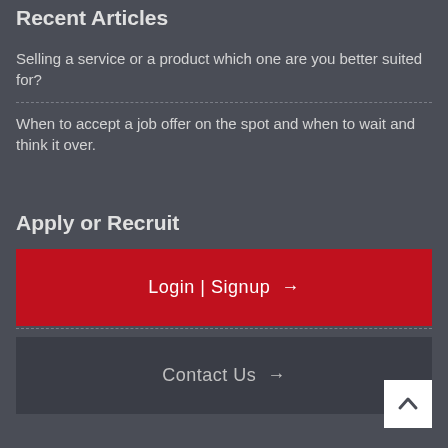Recent Articles
Selling a service or a product which one are you better suited for?
When to accept a job offer on the spot and when to wait and think it over.
Apply or Recruit
Login | Signup →
Contact Us →